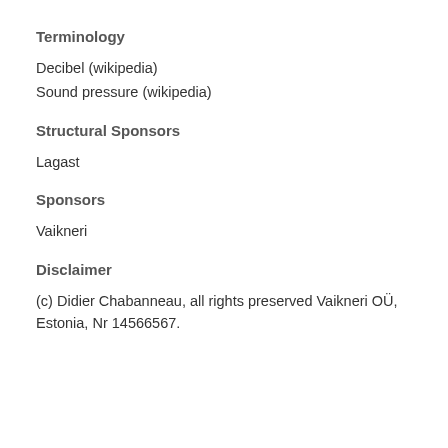Terminology
Decibel (wikipedia)
Sound pressure (wikipedia)
Structural Sponsors
Lagast
Sponsors
Vaikneri
Disclaimer
(c) Didier Chabanneau, all rights preserved Vaikneri OÜ, Estonia, Nr 14566567.